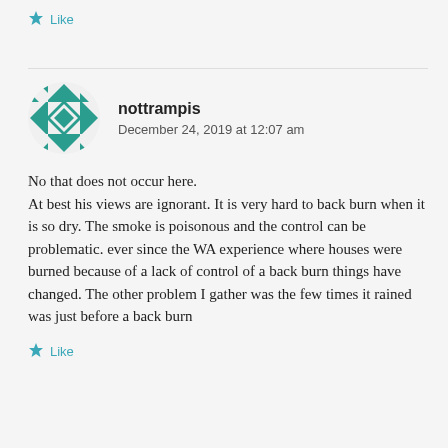★ Like
[Figure (illustration): Circular avatar with teal geometric diamond/square pattern for user nottrampis]
nottrampis
December 24, 2019 at 12:07 am
No that does not occur here.
At best his views are ignorant. It is very hard to back burn when it is so dry. The smoke is poisonous and the control can be problematic. ever since the WA experience where houses were burned because of a lack of control of a back burn things have changed. The other problem I gather was the few times it rained was just before a back burn
★ Like